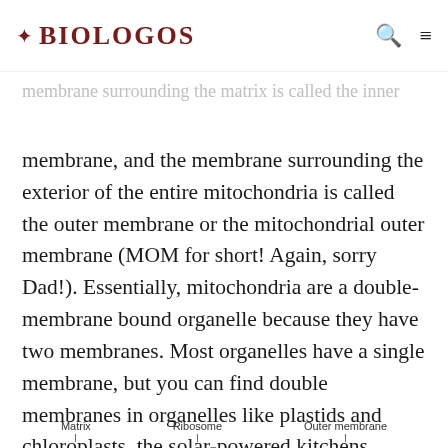BioLogos
This inner maze is called the matrix and the membrane surrounding the matrix is called the inner membrane, and the membrane surrounding the exterior of the entire mitochondria is called the outer membrane or the mitochondrial outer membrane (MOM for short! Again, sorry Dad!). Essentially, mitochondria are a double-membrane bound organelle because they have two membranes. Most organelles have a single membrane, but you can find double membranes in organelles like plastids and chloroplasts, the solar-powered kitchens cooking up the “food” plants, some animals and protists need to survive.
Matrix   Ribosome   Outer membrane